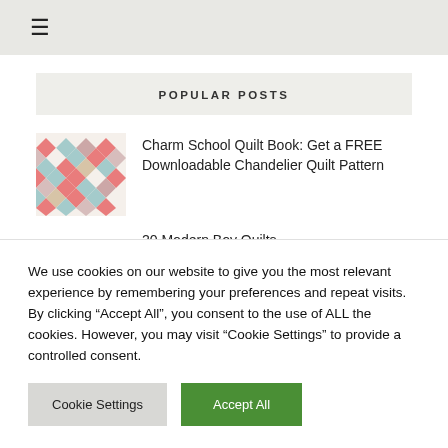≡
POPULAR POSTS
Charm School Quilt Book: Get a FREE Downloadable Chandelier Quilt Pattern
20 Modern Boy Quilts
We use cookies on our website to give you the most relevant experience by remembering your preferences and repeat visits. By clicking "Accept All", you consent to the use of ALL the cookies. However, you may visit "Cookie Settings" to provide a controlled consent.